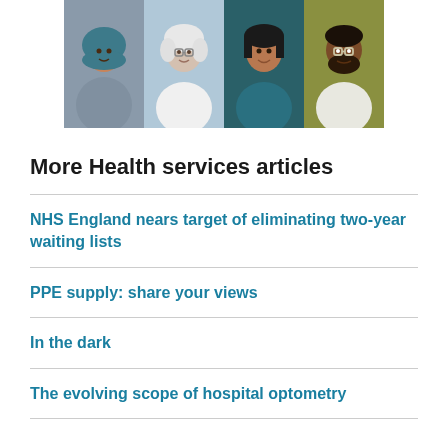[Figure (illustration): Four illustrated diverse people portraits side by side: a woman in a teal hijab on grey-purple background, an older woman with white hair and glasses on light blue background, a woman with dark hair on dark teal background, and a man with a beard and glasses on olive-green background.]
More Health services articles
NHS England nears target of eliminating two-year waiting lists
PPE supply: share your views
In the dark
The evolving scope of hospital optometry